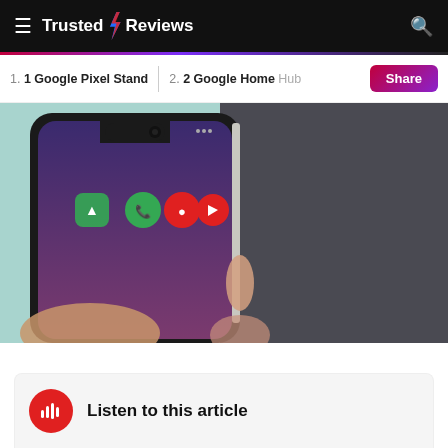Trusted Reviews
1. 1 Google Pixel Stand
2. 2 Google Home Hub
[Figure (photo): Hand holding a Google Pixel 3 XL smartphone showing the home screen with app icons, with a dark background]
Listen to this article